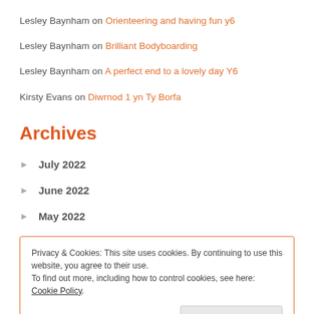Lesley Baynham on Orienteering and having fun y6
Lesley Baynham on Brilliant Bodyboarding
Lesley Baynham on A perfect end to a lovely day Y6
Kirsty Evans on Diwrnod 1 yn Ty Borfa
Archives
July 2022
June 2022
May 2022
Privacy & Cookies: This site uses cookies. By continuing to use this website, you agree to their use.
To find out more, including how to control cookies, see here: Cookie Policy
December 2021